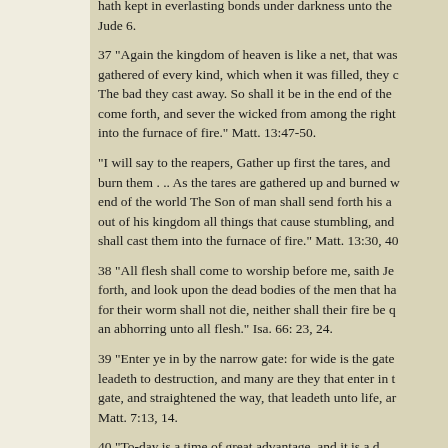hath kept in everlasting bonds under darkness unto the Jude 6.
37 "Again the kingdom of heaven is like a net, that was gathered of every kind, which when it was filled, they c The bad they cast away. So shall it be in the end of the come forth, and sever the wicked from among the right into the furnace of fire." Matt. 13:47-50.
"I will say to the reapers, Gather up first the tares, and burn them . .. As the tares are gathered up and burned w end of the world The Son of man shall send forth his a out of his kingdom all things that cause stumbling, and shall cast them into the furnace of fire." Matt. 13:30, 40
38 "All flesh shall come to worship before me, saith Je forth, and look upon the dead bodies of the men that ha for their worm shall not die, neither shall their fire be q an abhorring unto all flesh." Isa. 66: 23, 24.
39 "Enter ye in by the narrow gate: for wide is the gate leadeth to destruction, and many are they that enter in t gate, and straightened the way, that leadeth unto life, ar Matt. 7:13, 14.
40 "To-day is a time of great advantage, and it is a d